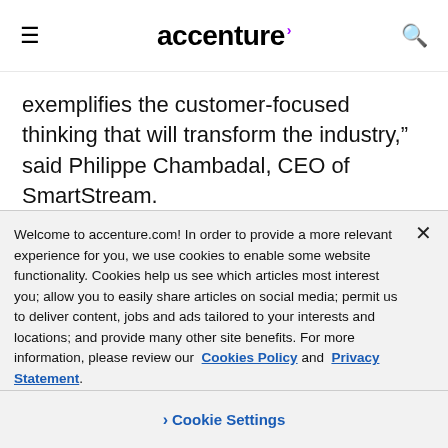accenture
exemplifies the customer-focused thinking that will transform the industry,” said Philippe Chambadal, CEO of SmartStream.
Accenture Post-Trade Processing will offer scalable, cost-efficient securities processing
Welcome to accenture.com! In order to provide a more relevant experience for you, we use cookies to enable some website functionality. Cookies help us see which articles most interest you; allow you to easily share articles on social media; permit us to deliver content, jobs and ads tailored to your interests and locations; and provide many other site benefits. For more information, please review our Cookies Policy and Privacy Statement.
› Cookie Settings